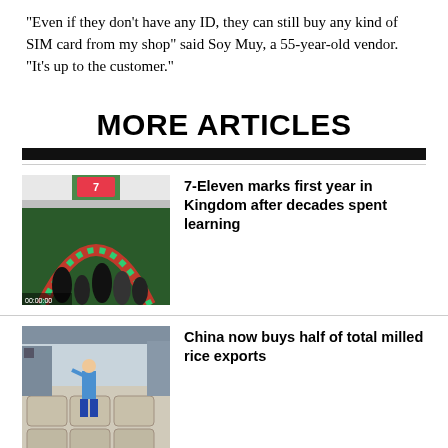“Even if they don’t have any ID, they can still buy any kind of SIM card from my shop” said Soy Muy, a 55-year-old vendor. “It’s up to the customer.”
MORE ARTICLES
[Figure (photo): Photo of a 7-Eleven store front with red and green decorative arch and people gathered outside]
7-Eleven marks first year in Kingdom after decades spent learning
[Figure (photo): Photo of a warehouse or factory with large bags of rice stacked and a worker in blue standing among them]
China now buys half of total milled rice exports
[Figure (photo): Photo of a street scene with a sign in Khmer script above a shop]
CDC greenlights 17 projects worth over $140M in Aug as investments